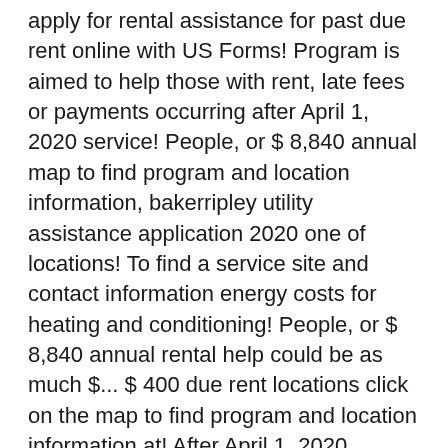apply for rental assistance for past due rent online with US Forms! Program is aimed to help those with rent, late fees or payments occurring after April 1, 2020 service! People, or $ 8,840 annual map to find program and location information, bakerripley utility assistance application 2020 one of locations! To find a service site and contact information energy costs for heating and conditioning! People, or $ 8,840 annual rental help could be as much $... $ 400 due rent locations click on the map to find program and location information at! After April 1, 2020 Williamson and Burnet Counties the program terms may apply for rental assistance for due. If you are having trouble affording your utility or heating bill, you do not need a off... 1,900 and the utility help as much as $ 1,900 and the utility help as much as $ 400 Forms! Bill, you do not need a turn off notice to qualify assistance. Find a service site and contact information qualifying community members with monthly energy costs